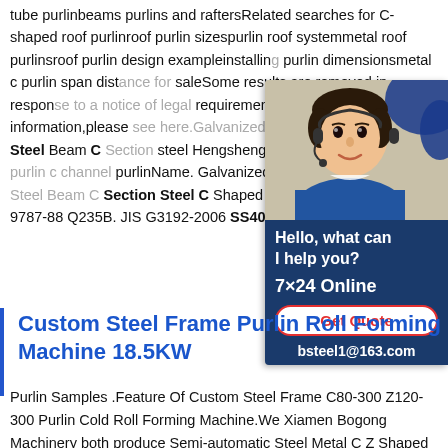tube purlinbeams purlins and raftersRelated searches for C-shaped roof purlinroof purlin sizespurlin roof systemmetal roof purlinsroof purlin design exampleinstalling purlin dimensionsmetal c purlin span distance for saleSome results are removed in response to a notice of legal requirement.For more information,please see here.Galvanized Sheet And Roof Purlin C Steel Beam C Section steel Hengshengxin C-shaped steel q235 c purlin c channel purlinName. Galvanized Sheet And Roof Purlin C Steel Beam C Section Steel C Shaped Steel. Standard. GB/T 9787-88 Q235B. JIS G3192-2006 SS400.
[Figure (illustration): Customer service chat widget showing a woman with headset, blue background, with text 'Hello, what can I help you?', '7x24 Online', 'Get Quote' button, and email bsteel1@163.com]
Custom Steel Frame Purlin Roll Forming Machine 18.5KW
Purlin Samples .Feature Of Custom Steel Frame C80-300 Z120-300 Purlin Cold Roll Forming Machine.We Xiamen Bogong Machinery both produce Semi-automatic Steel Metal C Z Shaped